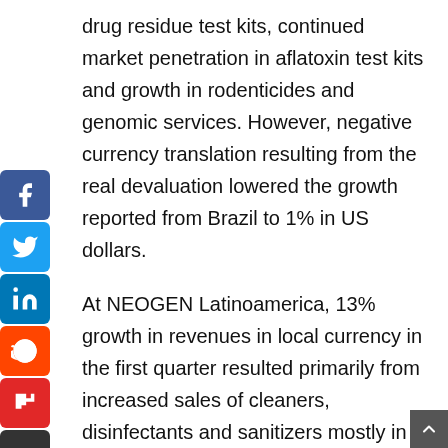drug residue test kits, continued market penetration in aflatoxin test kits and growth in rodenticides and genomic services. However, negative currency translation resulting from the real devaluation lowered the growth reported from Brazil to 1% in US dollars.
At NEOGEN Latinoamerica, 13% growth in revenues in local currency in the first quarter resulted primarily from increased sales of cleaners, disinfectants and sanitizers mostly in Mexico. Adjusting for the devaluation of the peso relative to the dollar resulted in a revenue decline of 2% in US dollars compared to last year’s first quarter.
Combined revenues at our UK operations increased 21% primarily resulting from a large order of hand sanitizers to the UK Government’s Health Organization and strong cleaner and disinfectant sales to Asia-Pacific,